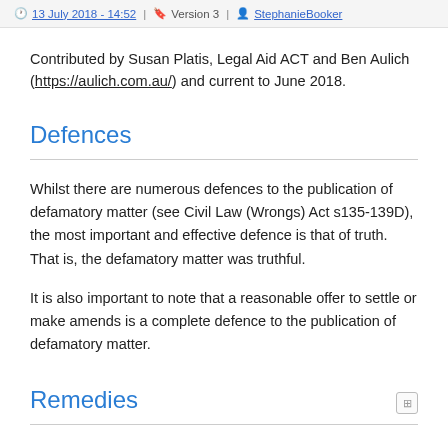🕐 13 July 2018 - 14:52 | 🔖 Version 3 | 👤 StephanieBooker
Contributed by Susan Platis, Legal Aid ACT and Ben Aulich (https://aulich.com.au/) and current to June 2018.
Defences
Whilst there are numerous defences to the publication of defamatory matter (see Civil Law (Wrongs) Act s135-139D), the most important and effective defence is that of truth. That is, the defamatory matter was truthful.
It is also important to note that a reasonable offer to settle or make amends is a complete defence to the publication of defamatory matter.
Remedies